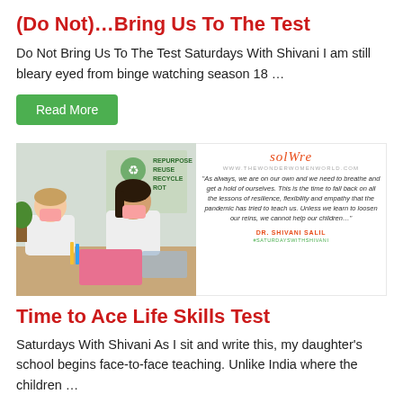(Do Not)…Bring Us To The Test
Do Not Bring Us To The Test Saturdays With Shivani I am still bleary eyed from binge watching season 18 …
Read More
[Figure (photo): Two students wearing face masks working at a desk with recycling sign in background, alongside a quote card from Dr. Shivani Salil about resilience and empathy from the pandemic]
Time to Ace Life Skills Test
Saturdays With Shivani As I sit and write this, my daughter's school begins face-to-face teaching. Unlike India where the children …
Read More